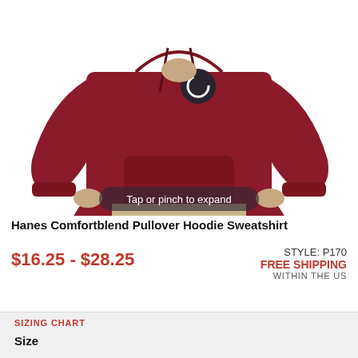[Figure (photo): Person wearing a maroon/dark red Hanes Comfortblend Pullover Hoodie Sweatshirt, shown from chest down. A circular logo/loading icon is visible on the chest area. An overlay reads 'Tap or pinch to expand'.]
Hanes Comfortblend Pullover Hoodie Sweatshirt
$16.25 - $28.25
STYLE: P170
FREE SHIPPING
WITHIN THE US
SIZING CHART
Size